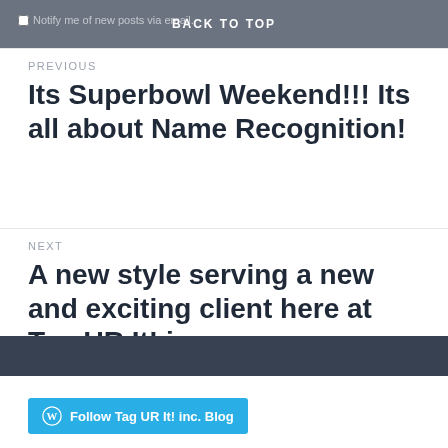BACK TO TOP
Notify me of new posts via email.
PREVIOUS
Its Superbowl Weekend!!! Its all about Name Recognition!
NEXT
A new style serving a new and exciting client here at Tag UR It! inc.
Follow Tag UR It! inc. Blog